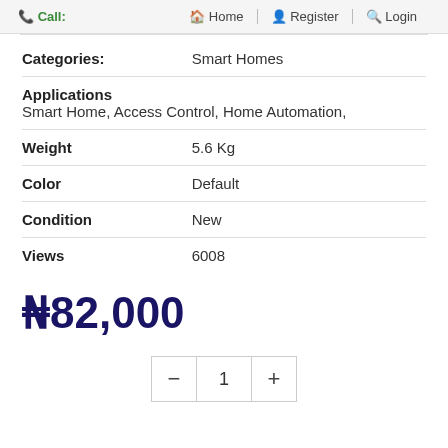📞 Call:    🏠 Home  👤 Register  🔍 Login
| Categories: | Smart Homes |
| Applications
Smart Home, Access Control, Home Automation, |  |
| Weight | 5.6 Kg |
| Color | Default |
| Condition | New |
| Views | 6008 |
₦82,000
- 1 +